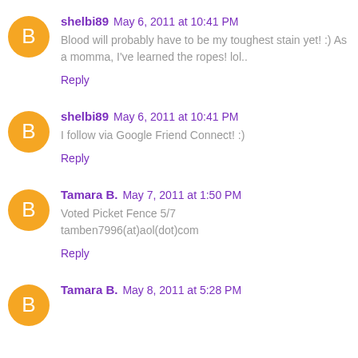shelbi89 May 6, 2011 at 10:41 PM
Blood will probably have to be my toughest stain yet! :) As a momma, I've learned the ropes! lol..
Reply
shelbi89 May 6, 2011 at 10:41 PM
I follow via Google Friend Connect! :)
Reply
Tamara B. May 7, 2011 at 1:50 PM
Voted Picket Fence 5/7
tamben7996(at)aol(dot)com
Reply
Tamara B. May 8, 2011 at 5:28 PM